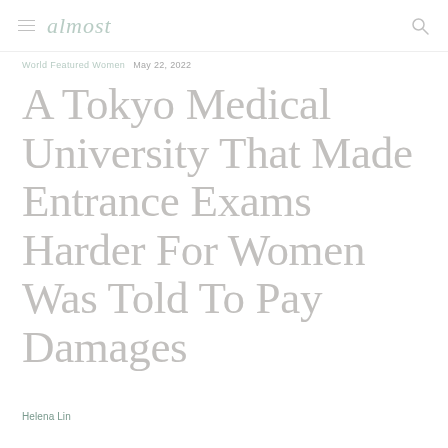almost
World Featured Women   May 22, 2022
A Tokyo Medical University That Made Entrance Exams Harder For Women Was Told To Pay Damages
Helena Lin